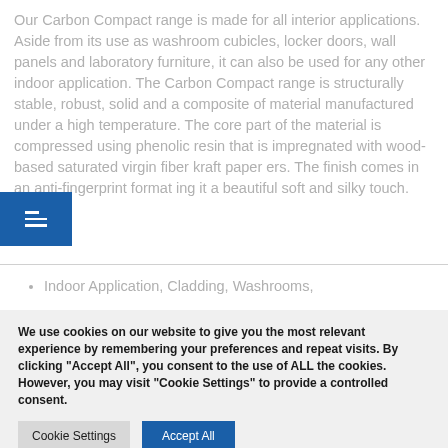Our Carbon Compact range is made for all interior applications. Aside from its use as washroom cubicles, locker doors, wall panels and laboratory furniture, it can also be used for any other indoor application. The Carbon Compact range is structurally stable, robust, solid and a composite of material manufactured under a high temperature. The core part of the material is compressed using phenolic resin that is impregnated with wood-based saturated virgin fiber kraft paper ers. The finish comes in an anti-fingerprint format ing it a beautiful soft and silky touch.
Indoor Application, Cladding, Washrooms,
We use cookies on our website to give you the most relevant experience by remembering your preferences and repeat visits. By clicking "Accept All", you consent to the use of ALL the cookies. However, you may visit "Cookie Settings" to provide a controlled consent.